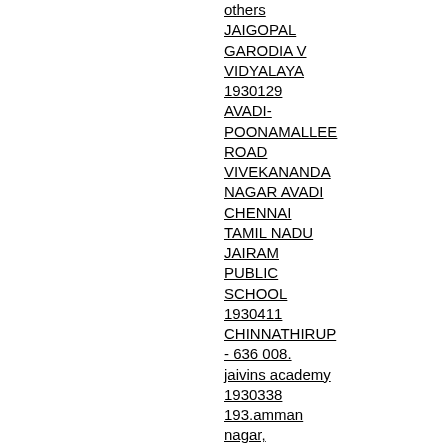others
JAIGOPAL GARODIA V VIDYALAYA 1930129 AVADI-POONAMALLEE ROAD VIVEKANANDA NAGAR AVADI CHENNAI TAMIL NADU
JAIRAM PUBLIC SCHOOL 1930411 CHINNATHIRUPATHI - 636 008.
jaivins academy 1930338 193.amman nagar, ammampalayam (po) attur (tk)
JAWAHAR